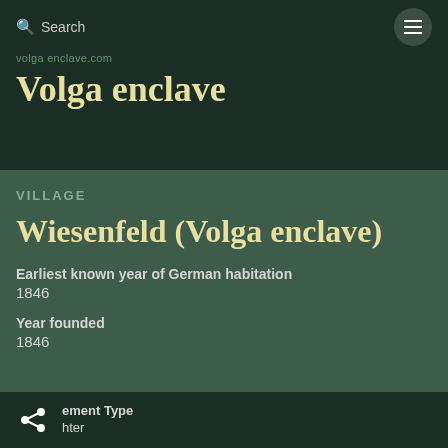Search
Volga enclave
VILLAGE
Wiesenfeld (Volga enclave)
Earliest known year of German habitation
1846
Year founded
1846
ement Type  hter